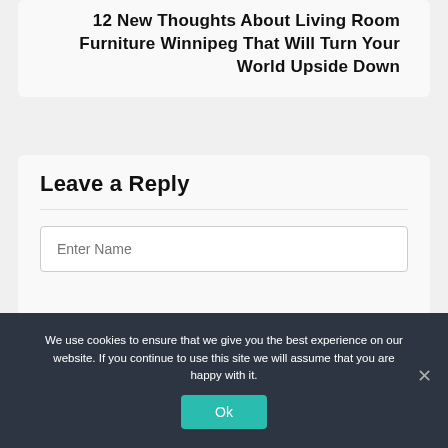12 New Thoughts About Living Room Furniture Winnipeg That Will Turn Your World Upside Down
Leave a Reply
Enter Name
We use cookies to ensure that we give you the best experience on our website. If you continue to use this site we will assume that you are happy with it.